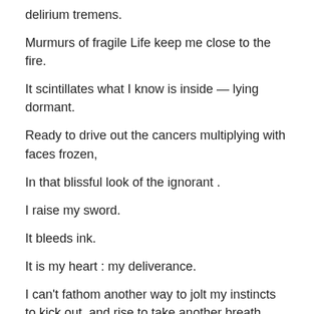delirium tremens.
Murmurs of fragile Life keep me close to the fire.
It scintillates what I know is inside — lying dormant.
Ready to drive out the cancers multiplying with faces frozen,
In that blissful look of the ignorant .
I raise my sword.
It bleeds ink.
It is my heart : my deliverance.
I can't fathom another way to jolt my instincts to kick out, and rise to take another breath.